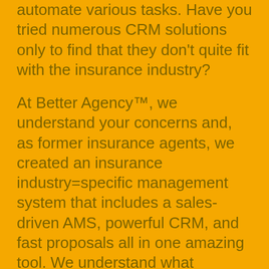automate various tasks. Have you tried numerous CRM solutions only to find that they don't quite fit with the insurance industry?
At Better Agency™, we understand your concerns and, as former insurance agents, we created an insurance industry=specific management system that includes a sales-driven AMS, powerful CRM, and fast proposals all in one amazing tool. We understand what insurance agents need for success and have created a powerful tool that helps you better reach your business goals.
Schedule a discovery call with the team today and let us help you better manage your agency.